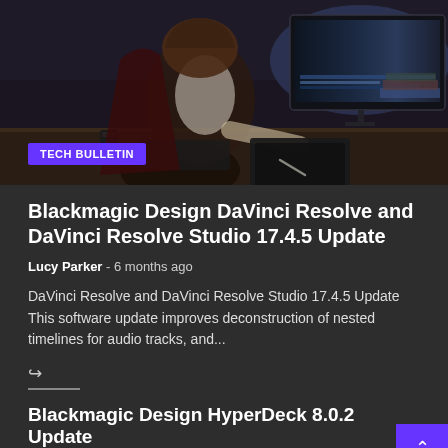[Figure (photo): Person sitting at a desk using a stylus/pen tablet with monitors displaying video editing software in a dark studio environment]
TECH BULLETIN
Blackmagic Design DaVinci Resolve and DaVinci Resolve Studio 17.4.5 Update
Lucy Parker  -  6 months ago
DaVinci Resolve and DaVinci Resolve Studio 17.4.5 Update This software update improves deconstruction of nested timelines for audio tracks, and...
Blackmagic Design HyperDeck 8.0.2 Update
11 months ago